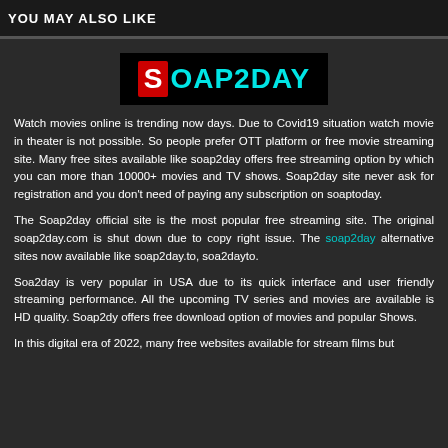YOU MAY ALSO LIKE
[Figure (logo): Soap2day logo: black background with red 'S' box and cyan text 'OAP2DAY']
Watch movies online is trending now days. Due to Covid19 situation watch movie in theater is not possible. So people prefer OTT platform or free movie streaming site. Many free sites available like soap2day offers free streaming option by which you can more than 10000+ movies and TV shows. Soap2day site never ask for registration and you don't need of paying any subscription on soaptoday.
The Soap2day official site is the most popular free streaming site. The original soap2day.com is shut down due to copy right issue. The soap2day alternative sites now available like soap2day.to, soa2dayto.
Soa2day is very popular in USA due to its quick interface and user friendly streaming performance. All the upcoming TV series and movies are available is HD quality. Soap2dy offers free download option of movies and popular Shows.
In this digital era of 2022, many free websites available for stream films but